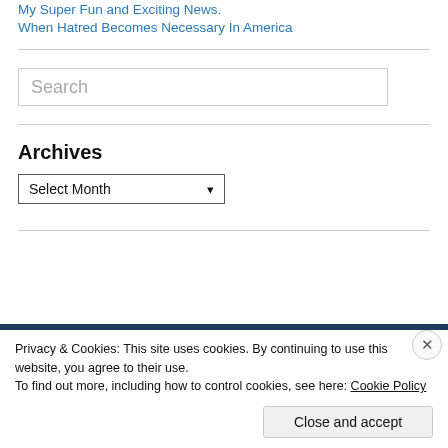My Super Fun and Exciting News.
When Hatred Becomes Necessary In America
Search
Archives
Select Month
Privacy & Cookies: This site uses cookies. By continuing to use this website, you agree to their use.
To find out more, including how to control cookies, see here: Cookie Policy
Close and accept